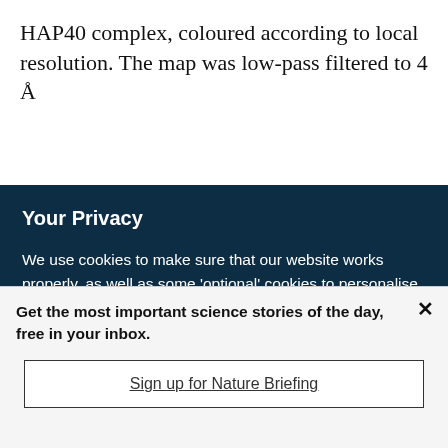HAP40 complex, coloured according to local resolution. The map was low-pass filtered to 4 Å
Your Privacy
We use cookies to make sure that our website works properly, as well as some 'optional' cookies to personalise content and advertising, provide social media features and analyse how people use our site. By accepting some or all optional cookies you give consent to the processing of your personal data, including transfer to third parties, some in countries outside of the European Economic Area that do not offer the same data protection standards as the country where you live. You can decide which optional cookies to accept by clicking on 'Manage Settings', where you can
Get the most important science stories of the day, free in your inbox.
Sign up for Nature Briefing